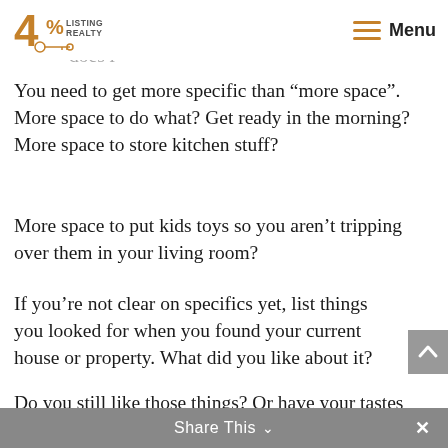[Figure (logo): 4% Listing Realty logo with key icon, orange color]
Think about the place you’re living right now. What does i
You need to get more specific than “more space”. More space to do what? Get ready in the morning? More space to store kitchen stuff?
More space to put kids toys so you aren’t tripping over them in your living room?
If you’re not clear on specifics yet, list things you looked for when you found your current house or property. What did you like about it?
Do you still like those things? Or have your tastes evolved?
Share This ∨ ×